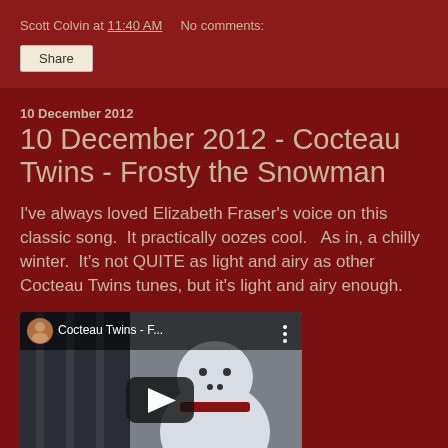Scott Colvin at 11:40 AM    No comments:
Share
10 December 2012
10 December 2012 - Cocteau Twins - Frosty the Snowman
I've always loved Elizabeth Fraser's voice on this classic song.  It practically oozes cool.   As in, a chilly winter.  It's not QUITE as light and airy as other Cocteau Twins tunes, but it's light and airy enough.
[Figure (screenshot): YouTube video embed thumbnail showing Cocteau Twins - F... with a play button and snowman image in background, channel icon on left]